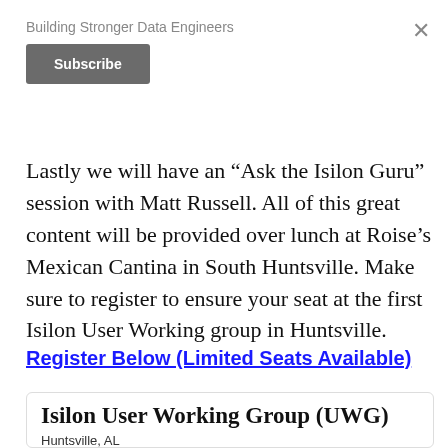Building Stronger Data Engineers
Subscribe
Lastly we will have an “Ask the Isilon Guru” session with Matt Russell. All of this great content will be provided over lunch at Roise’s Mexican Cantina in South Huntsville. Make sure to register to ensure your seat at the first Isilon User Working group in Huntsville.
Register Below (Limited Seats Available)
Isilon User Working Group (UWG)
Huntsville, AL
2 Members